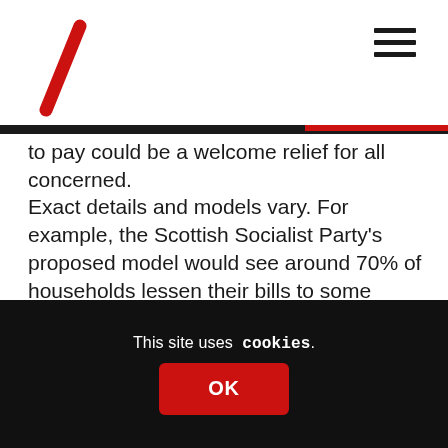Newsnet Scotland logo and navigation
to pay could be a welcome relief for all concerned. Exact details and models vary. For example, the Scottish Socialist Party's proposed model would see around 70% of households lessen their bills to some degree. Others prefer a lesser change. Some models also seek to increase the overall tax revenue at the same time to help fund those universal public services that have proven so important
This site uses cookies. OK